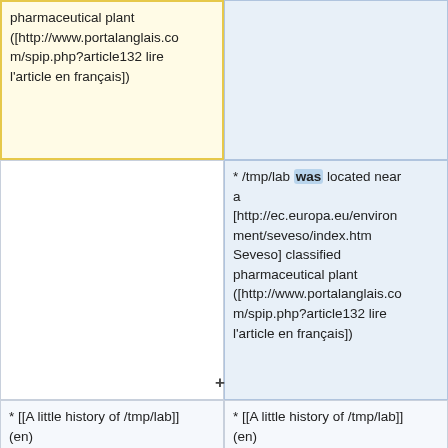pharmaceutical plant ([http://www.portalanglais.com/spip.php?article132 lire l'article en français])
* /tmp/lab was located near a [http://ec.europa.eu/environment/seveso/index.htm Seveso] classified pharmaceutical plant ([http://www.portalanglais.com/spip.php?article132 lire l'article en français])
* [[A little history of /tmp/lab]] (en) ([http://www.tmplab.org/wiki/index.php/A_little_history_of_/tmp/lab#Fran.C3.A7ais Un petit historique du /tmp/lab])
* [[A little history of /tmp/lab]] (en) ([http://www.tmplab.org/wiki/index.php/A_little_history_of_/tmp/lab#Fran.C3.A7ais Un petit historique du /tmp/lab])
*/tmp/lab is located now in the "Maison Pour Tous" in Choisy-le-Roi, 30 Avenue